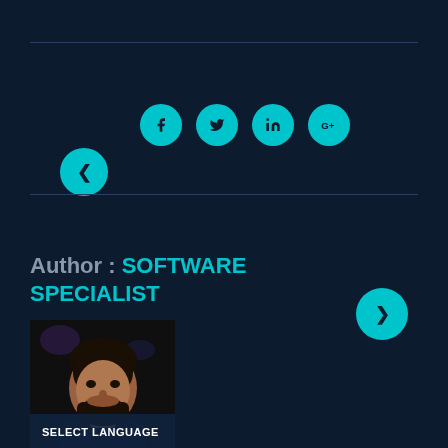[Figure (screenshot): Navigation UI with back arrow button (left), social media icons (Facebook, Twitter, LinkedIn, Google+), and forward arrow button (right) on dark navy background]
Author : SOFTWARE SPECIALIST
[Figure (photo): Photo of a man with dark hair and beard on dark background]
SELECT LANGUAGE